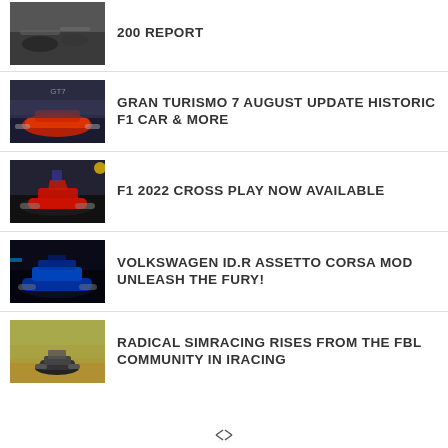200 REPORT
[Figure (photo): Racing cars on track, partial article thumbnail]
GRAN TURISMO 7 AUGUST UPDATE HISTORIC F1 CAR & MORE
[Figure (photo): Red racing car on track thumbnail for Gran Turismo 7 article]
F1 2022 CROSS PLAY NOW AVAILABLE
[Figure (photo): Red Bull F1 car on track thumbnail]
VOLKSWAGEN ID.R ASSETTO CORSA MOD UNLEASH THE FURY!
[Figure (photo): Dark blue electric racing car thumbnail]
RADICAL SIMRACING RISES FROM THE FBL COMMUNITY IN IRACING
[Figure (photo): Small racing car on sand-colored track thumbnail]
X